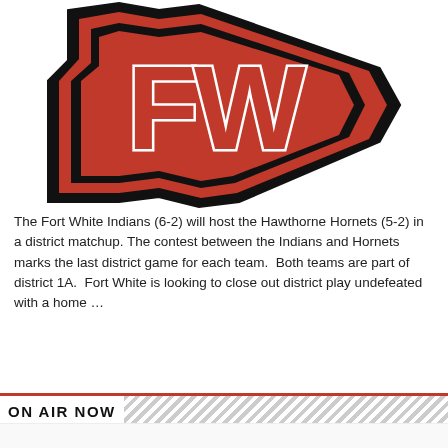[Figure (logo): Fort White Indians school logo — a red and black arrowhead shape with bold red letters 'FW' with white outlines inside]
The Fort White Indians (6-2) will host the Hawthorne Hornets (5-2) in a district matchup. The contest between the Indians and Hornets marks the last district game for each team.  Both teams are part of district 1A.  Fort White is looking to close out district play undefeated with a home …
Read More »
ON AIR NOW
ESPN Radio Programming
Saturday, 12:00 am - 11:59 pm